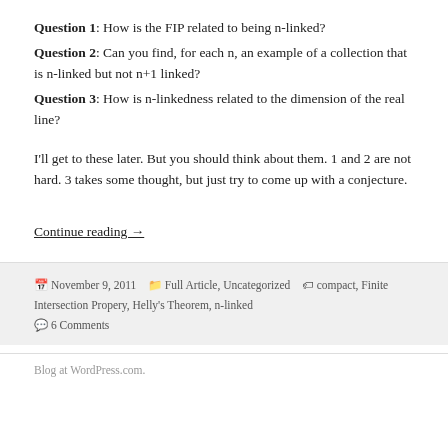Question 1: How is the FIP related to being n-linked?
Question 2: Can you find, for each n, an example of a collection that is n-linked but not n+1 linked?
Question 3: How is n-linkedness related to the dimension of the real line?
I'll get to these later. But you should think about them. 1 and 2 are not hard. 3 takes some thought, but just try to come up with a conjecture.
Continue reading →
November 9, 2011  Full Article, Uncategorized  compact, Finite Intersection Propery, Helly's Theorem, n-linked  6 Comments
Blog at WordPress.com.